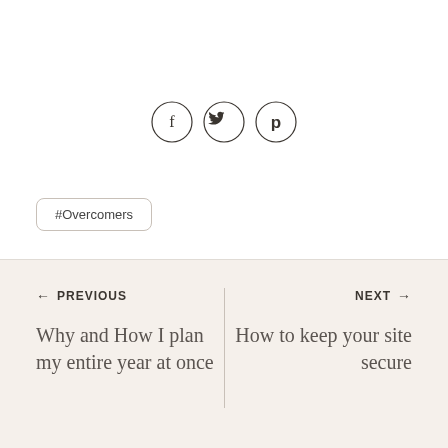[Figure (other): Three social media icon circles: Facebook (f), Twitter (bird), Pinterest (p)]
#Overcomers
← PREVIOUS
Why and How I plan my entire year at once
NEXT →
How to keep your site secure